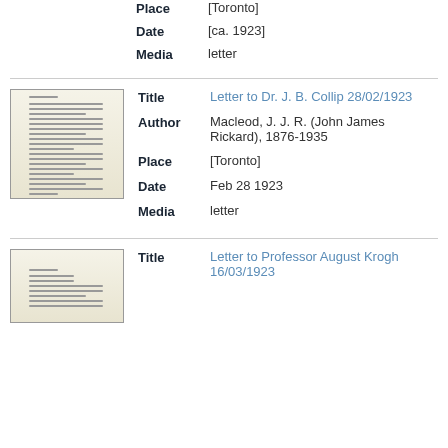Place: [Toronto]
Date: [ca. 1923]
Media: letter
[Figure (photo): Thumbnail image of a typed letter document]
Title: Letter to Dr. J. B. Collip 28/02/1923
Author: Macleod, J. J. R. (John James Rickard), 1876-1935
Place: [Toronto]
Date: Feb 28 1923
Media: letter
[Figure (photo): Thumbnail image of a typed letter document]
Title: Letter to Professor August Krogh 16/03/1923